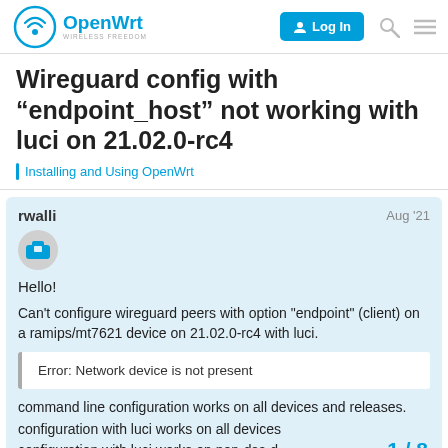OpenWrt — WIRELESS FREEDOM | Log In
Wireguard config with “endpoint_host” not working with luci on 21.02.0-rc4
Installing and Using OpenWrt
rwalli — Aug '21
Hello!
Can't configure wireguard peers with option "endpoint" (client) on a ramips/mt7621 device on 21.02.0-rc4 with luci.
Error: Network device is not present
command line configuration works on all devices and releases.
configuration with luci works on all devices
configuration with luci works on non-dsa d
1 / 8